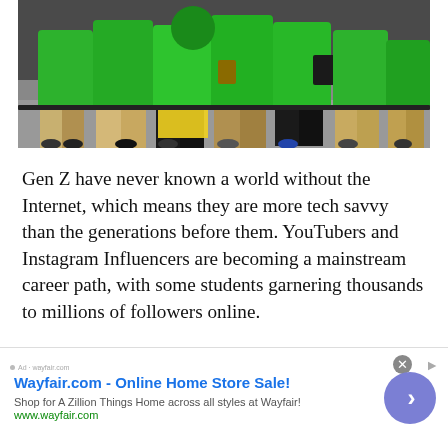[Figure (photo): Crowd of people wearing bright green t-shirts, standing together, some holding yellow items, photographed from waist down showing shorts and legs]
Gen Z have never known a world without the Internet, which means they are more tech savvy than the generations before them. YouTubers and Instagram Influencers are becoming a mainstream career path, with some students garnering thousands to millions of followers online.
With that in mind, why not leverage an influencer's
[Figure (other): Wayfair.com advertisement banner. Title: Wayfair.com - Online Home Store Sale! Subtitle: Shop for A Zillion Things Home across all styles at Wayfair! URL: www.wayfair.com. Has a circular purple call-to-action button with a right arrow.]